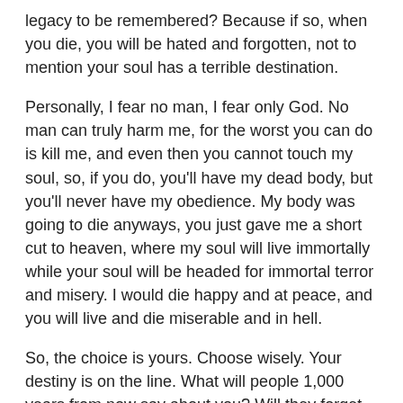legacy to be remembered? Because if so, when you die, you will be hated and forgotten, not to mention your soul has a terrible destination.
Personally, I fear no man, I fear only God. No man can truly harm me, for the worst you can do is kill me, and even then you cannot touch my soul, so, if you do, you'll have my dead body, but you'll never have my obedience. My body was going to die anyways, you just gave me a short cut to heaven, where my soul will live immortally while your soul will be headed for immortal terror and misery. I would die happy and at peace, and you will live and die miserable and in hell.
So, the choice is yours. Choose wisely. Your destiny is on the line. What will people 1,000 years from now say about you? Will they forget you and spit on your despicable legacy? Or, will they hold your name up as an